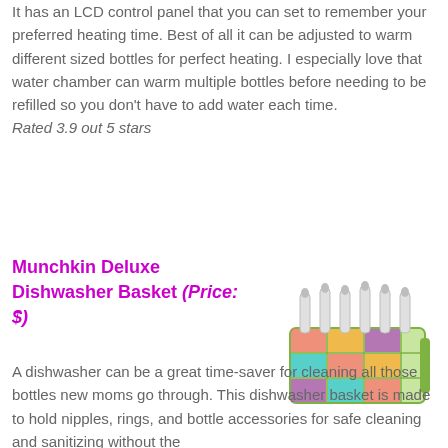It has an LCD control panel that you can set to remember your preferred heating time. Best of all it can be adjusted to warm different sized bottles for perfect heating. I especially love that water chamber can warm multiple bottles before needing to be refilled so you don't have to add water each time. Rated 3.9 out 5 stars
Munchkin Deluxe Dishwasher Basket (Price: $)
[Figure (photo): Munchkin Deluxe Dishwasher Basket product photo showing colorful basket with bottle holders and baby bottles]
A dishwasher can be a great time-saver for cleaning all those bottles new moms go through. This dishwasher basket is made to hold nipples, rings, and bottle accessories for safe cleaning and sanitizing without the